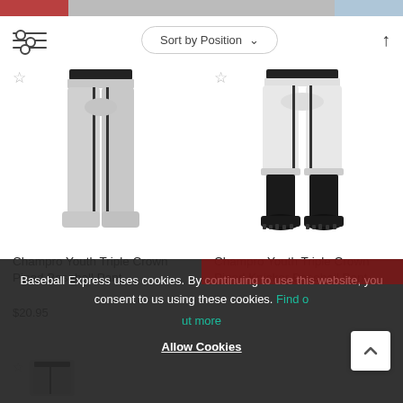[Figure (screenshot): Top banner with red, grey, and blue colored sections from a website product page]
[Figure (screenshot): Toolbar with filter sliders icon on left, Sort by Position dropdown button in center, and up-arrow icon on right]
[Figure (photo): Champro Youth Triple Crown Piped Baseball Pant - grey pants with black piping and black belt on white background]
Champro Youth Triple Crown Piped Baseball Pant
$20.95
[Figure (photo): Champro Youth Triple Crown Piped Knicker Baseball Pant - white knicker pants with black piping, black socks and black cleats on white background]
Champro Youth Triple Crown Piped Knicker Baseball Pant
Baseball Express uses cookies. By continuing to use this website, you consent to us using these cookies. Find out more
Allow Cookies